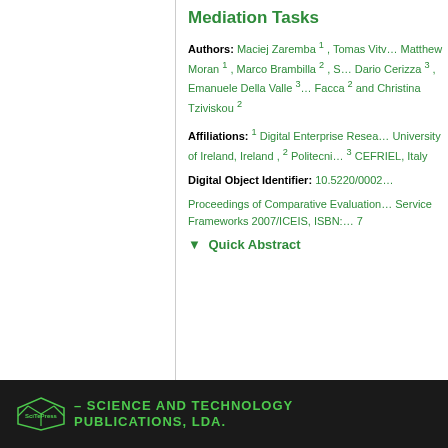Mediation Tasks
Authors: Maciej Zaremba 1 , Tomas Vitv… Matthew Moran 1 , Marco Brambilla 2 , S… Dario Cerizza 3 , Emanuele Della Valle 3… Facca 2 and Christina Tziviskou 2
Affiliations: 1 Digital Enterprise Resea… University of Ireland, Ireland , 2 Politecni… 3 CEFRIEL, Italy
Digital Object Identifier: 10.5220/0002…
Proceedings of Comparative Evaluation… Service Frameworks 2007/ICEIS, ISBN:… 7
Quick Abstract
SCITEPRESS - SCIENCE AND TECHNOLOGY PUBLICATIONS, LDA.